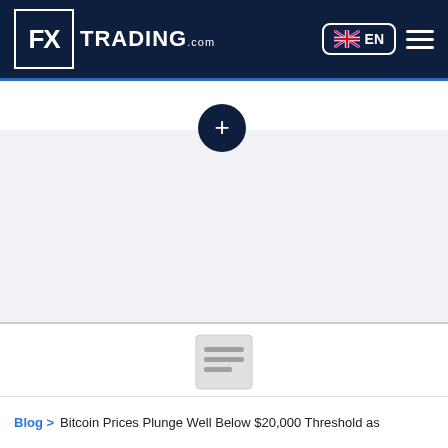FX TRADING.com — EN language selector, menu icon
TRY OUR ALPHA ACCOUNT
[Figure (other): Plus (+) button circle for expanding the alpha account section]
[Figure (other): Article/document icon in light gray]
Blog > Bitcoin Prices Plunge Well Below $20,000 Threshold as